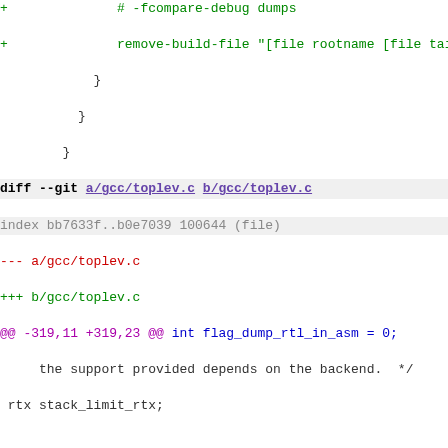Code diff showing changes to gcc/toplev.c, including modifications to flag_var_tracking and related variables.